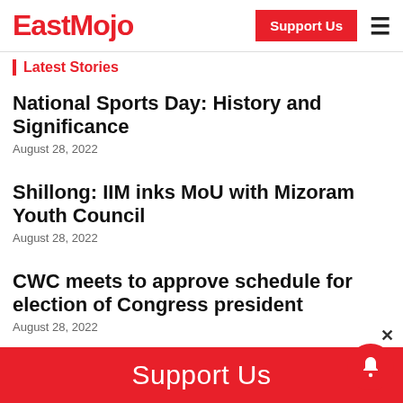EastMojo
Latest Stories
National Sports Day: History and Significance
August 28, 2022
Shillong: IIM inks MoU with Mizoram Youth Council
August 28, 2022
CWC meets to approve schedule for election of Congress president
August 28, 2022
Support Us